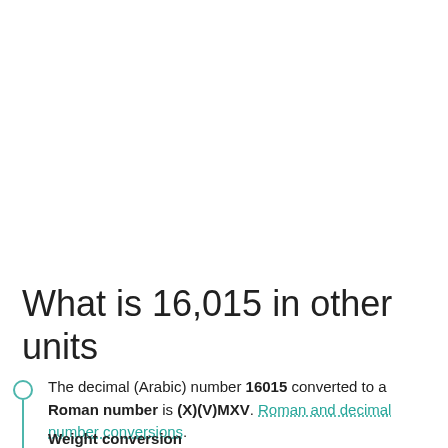What is 16,015 in other units
The decimal (Arabic) number 16015 converted to a Roman number is (X)(V)MXV. Roman and decimal number conversions.
Weight conversion